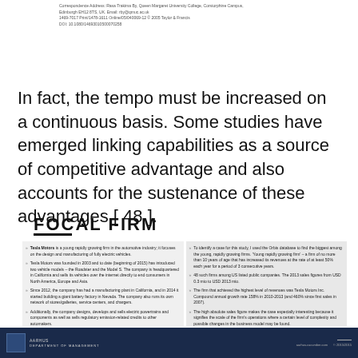Correspondence Address: Rasa Trakima By, Queen Margaret University College, Corstorphine Campus, Edinburgh EH12 8TS, UK. Email: rby@qmuc.ac.uk
1469-7017 Print/1478-1611 Online/05/040069-12 © 2005 Taylor & Francis
DOI: 10.1080/14693010500070258
In fact, the tempo must be increased on a continuous basis. Some studies have emerged linking capabilities as a source of competitive advantage and also accounts for the sustenance of these advantages [ 48 ].
FOCAL FIRM
Tesla Motors is a young rapidly growing firm in the automotive industry; it focuses on the design and manufacturing of fully electric vehicles.
Tesla Motors was founded in 2003 and to date (beginning of 2015) has introduced two vehicle models – the Roadster and the Model S. The company is headquartered in California and sells its vehicles over the internet directly to end consumers in North America, Europe and Asia.
Since 2012, the company has had a manufacturing plant in California, and in 2014 it started building a giant battery factory in Nevada. The company also runs its own network of stores/galleries, service centers, and chargers.
Additionally, the company designs, develops and sells electric powertrains and components as well as sells regulatory emission-related credits to other automakers.
To identify a case for this study, I used the Orbis database to find the biggest among the young, rapidly growing firms. 'Young rapidly growing firm' – a firm of no more than 10 years of age that has increased its revenues at the rate of at least 50% each year for a period of 3 consecutive years.
48 such firms among US listed public companies. The 2013 sales figures from USD 0.3 mio to USD 2013 mio.
The firm that achieved the highest level of revenues was Tesla Motors Inc. Compound annual growth rate 158% in 2010-2013 (and 460% since first sales in 2007).
The high absolute sales figure makes the case especially interesting because it signifies the scale of the firm's operations where a certain level of complexity and possible changes in the business model may be found.
AARHUS DEPARTMENT OF MANAGEMENT                                    aarhus.cucumber.com                          © 2015/2015